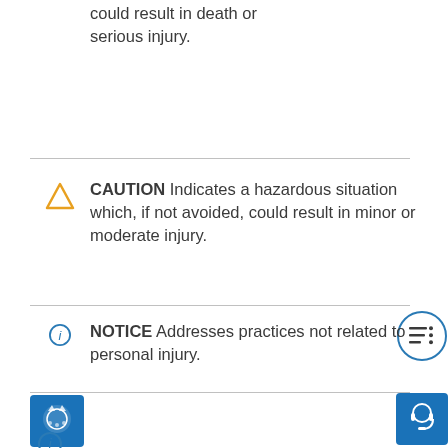could result in death or serious injury.
[Figure (illustration): Yellow/orange caution triangle warning icon (empty triangle outline)]
CAUTION  Indicates a hazardous situation which, if not avoided, could result in minor or moderate injury.
[Figure (illustration): Blue outlined circle with letter i (info icon)]
NOTICE  Addresses practices not related to personal injury.
[Figure (illustration): Circular blue-outlined menu/list icon with horizontal lines (table of contents button)]
[Figure (illustration): Blue square brand logo with cat/mascot icon]
[Figure (illustration): Blue square support/headset button icon]
[Figure (illustration): Blue outlined circle with letter i (info icon) at bottom]